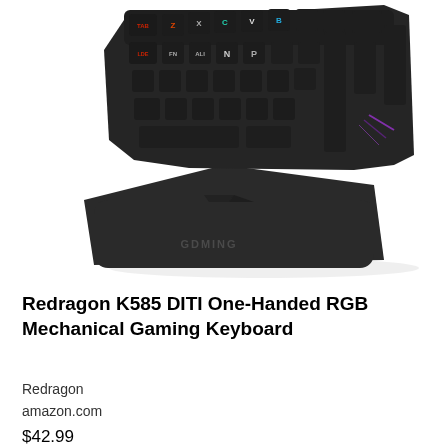[Figure (photo): A Redragon K585 DITI one-handed RGB mechanical gaming keyboard, shown at an angle. The keyboard is black with colorful RGB backlit keys (red, yellow, green, cyan, purple) and a wrist rest pad labeled 'GDMING' on the bottom. The background is white.]
Redragon K585 DITI One-Handed RGB Mechanical Gaming Keyboard
Redragon
amazon.com
$42.99